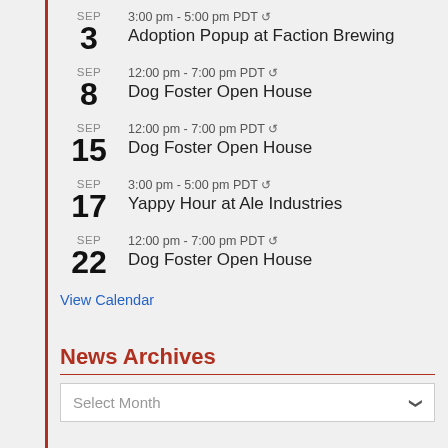SEP 3 — 3:00 pm - 5:00 pm PDT — Adoption Popup at Faction Brewing
SEP 8 — 12:00 pm - 7:00 pm PDT — Dog Foster Open House
SEP 15 — 12:00 pm - 7:00 pm PDT — Dog Foster Open House
SEP 17 — 3:00 pm - 5:00 pm PDT — Yappy Hour at Ale Industries
SEP 22 — 12:00 pm - 7:00 pm PDT — Dog Foster Open House
View Calendar
News Archives
Select Month